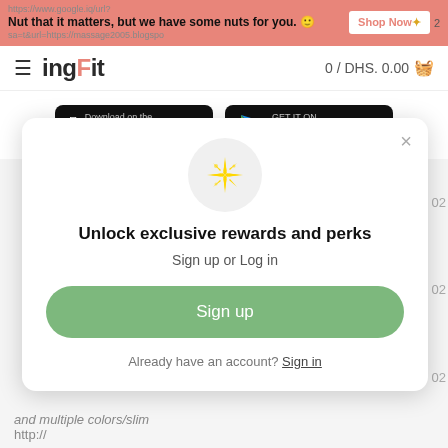Nut that it matters, but we have some nuts for you. 🙂  Shop Now
[Figure (logo): ingFit logo with hamburger menu and cart showing 0 / DHS. 0.00]
[Figure (screenshot): App Store and Google Play download buttons on white background]
[Figure (infographic): Modal popup with sparkle icon, 'Unlock exclusive rewards and perks' title, Sign up or Log in subtitle, green Sign up button, and 'Already have an account? Sign in' footer]